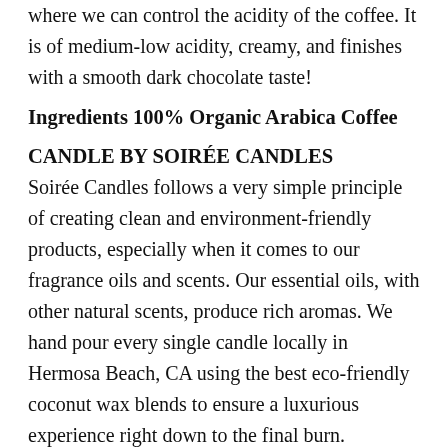where we can control the acidity of the coffee. It is of medium-low acidity, creamy, and finishes with a smooth dark chocolate taste!
Ingredients 100% Organic Arabica Coffee
CANDLE BY SOIRÉE CANDLES
Soirée Candles follows a very simple principle of creating clean and environment-friendly products, especially when it comes to our fragrance oils and scents. Our essential oils, with other natural scents, produce rich aromas. We hand pour every single candle locally in Hermosa Beach, CA using the best eco-friendly coconut wax blends to ensure a luxurious experience right down to the final burn.
Ingredients 100% natural coconut wax blend